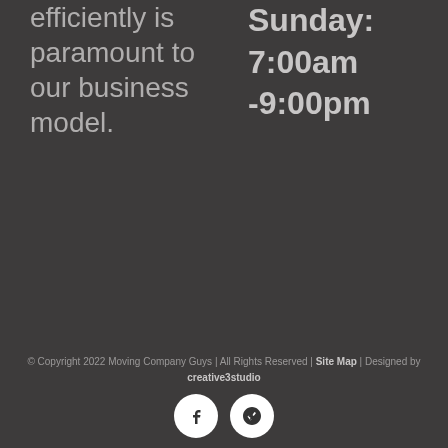efficiently is paramount to our business model.
Sunday: 7:00am -9:00pm
© Copyright 2022 Moving Company Guys | All Rights Reserved | Site Map | Designed by creative3studio
[Figure (other): Social media icons: Facebook circle and Yelp circle]